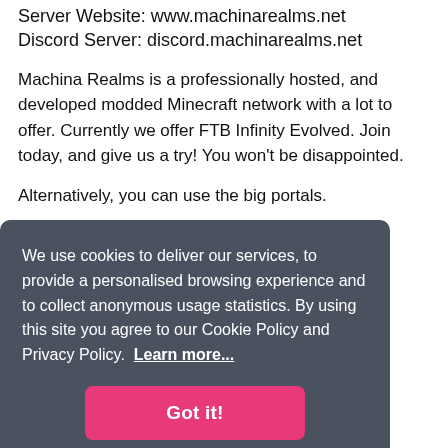Server Website: www.machinarealms.net
Discord Server: discord.machinarealms.net
Machina Realms is a professionally hosted, and developed modded Minecraft network with a lot to offer. Currently we offer FTB Infinity Evolved. Join today, and give us a try! You won't be disappointed.
Alternatively, you can use the big portals.
Keep Inventory ON
[Figure (screenshot): Cookie consent overlay with dark grey background. Text reads: 'We use cookies to deliver our services, to provide a personalised browsing experience and to collect anonymous usage statistics. By using this site you agree to our Cookie Policy and Privacy Policy. Learn more...' with a pink 'Got it!' button.]
X2 480GB SDD